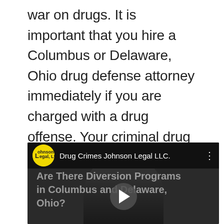war on drugs. It is important that you hire a Columbus or Delaware, Ohio drug defense attorney immediately if you are charged with a drug offense. Your criminal drug defense attorney will be able to attempt to put forth a strong defense and, in the event that you are convicted, mitigate the consequences and achieve the best outcome.
[Figure (screenshot): Embedded video player showing 'Drug Crimes Johnson Legal LLC.' with Johnson Legal LLC logo (yellow circle with L), a dark thumbnail featuring a person in a suit and overlaid text 'Are There Diversion Programs in Columbus and Delaware, Ohio?' with a play button in the center.]